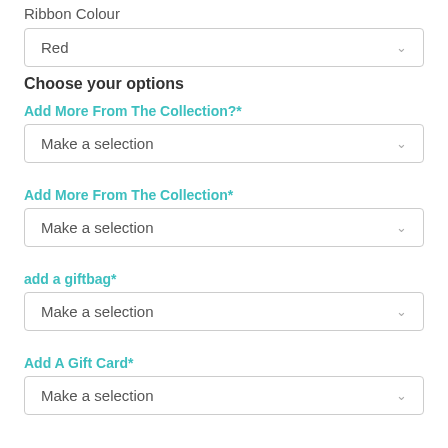Ribbon Colour
Red
Choose your options
Add More From The Collection?*
Make a selection
Add More From The Collection*
Make a selection
add a giftbag*
Make a selection
Add A Gift Card*
Make a selection